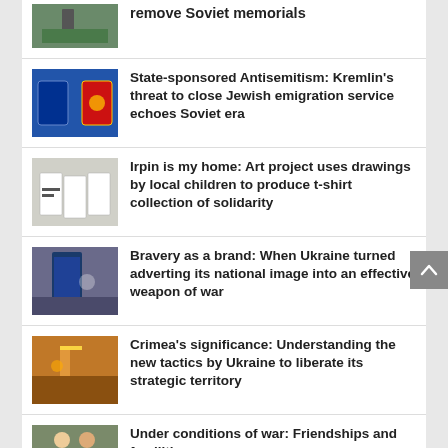[Figure (photo): Partial news item image - outdoor scene]
remove Soviet memorials
[Figure (photo): Passports - Israeli and Russian]
State-sponsored Antisemitism: Kremlin's threat to close Jewish emigration service echoes Soviet era
[Figure (photo): People in white t-shirts]
Irpin is my home: Art project uses drawings by local children to produce t-shirt collection of solidarity
[Figure (photo): Street scene with blue door]
Bravery as a brand: When Ukraine turned adverting its national image into an effective weapon of war
[Figure (photo): People with flag]
Crimea's significance: Understanding the new tactics by Ukraine to liberate its strategic territory
[Figure (photo): People outdoors]
Under conditions of war: Friendships and familiti...